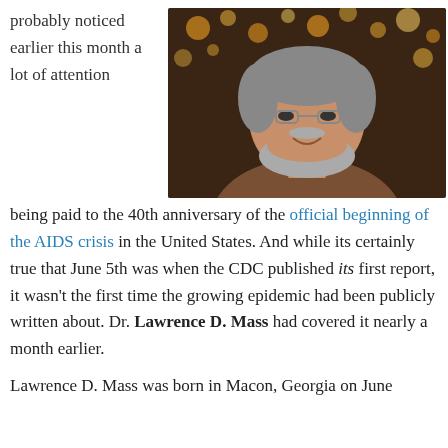probably noticed earlier this month a lot of attention
[Figure (photo): Portrait photo of a middle-aged man with gray beard and hair, wearing a brown knit shirt, smiling, with bokeh lights in the background]
being paid to the 40th anniversary of the official beginning of the AIDS crisis in the United States. And while its certainly true that June 5th was when the CDC published its first report, it wasn't the first time the growing epidemic had been publicly written about. Dr. Lawrence D. Mass had covered it nearly a month earlier.
Lawrence D. Mass was born in Macon, Georgia on June